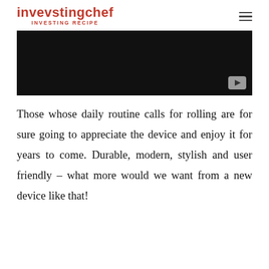invevstingchef INVESTING RECIPE
[Figure (screenshot): Dark/black video thumbnail with a YouTube play button in the bottom-right corner]
Those whose daily routine calls for rolling are for sure going to appreciate the device and enjoy it for years to come. Durable, modern, stylish and user friendly – what more would we want from a new device like that!